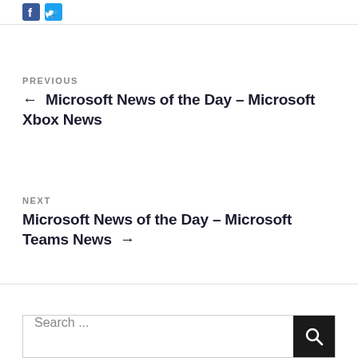[Figure (logo): Facebook and Twitter social media icons (small square icons in blue)]
PREVIOUS
← Microsoft News of the Day – Microsoft Xbox News
NEXT
Microsoft News of the Day – Microsoft Teams News →
Search ...